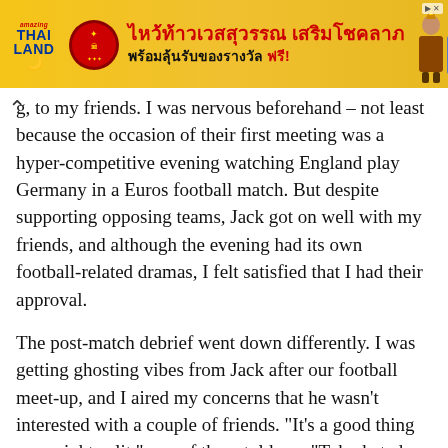[Figure (other): Advertisement banner for Amazing Thailand - ไหว้ท้าวเวสสุวรรณ เสริมโชคลาภ พร้อมลุ้นรับของรางวัล ฟรี! with Thai temple emblem and people in traditional dress]
g, to my friends. I was nervous beforehand – not least because the occasion of their first meeting was a hyper-competitive evening watching England play Germany in a Euros football match. But despite supporting opposing teams, Jack got on well with my friends, and although the evening had its own football-related dramas, I felt satisfied that I had their approval.
The post-match debrief went down differently. I was getting ghosting vibes from Jack after our football meet-up, and I aired my concerns that he wasn't interested with a couple of friends. "It's a good thing you might split," one of them told me. "Toby hated him." Toby was a close friend of mine whose opinion I really respected. I asked for his honest thoughts on my relationship, and he admitted he'd found Jack really arrogant.